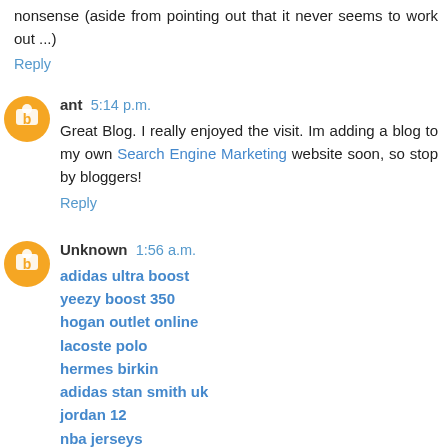nonsense (aside from pointing out that it never seems to work out ...)
Reply
ant 5:14 p.m.
Great Blog. I really enjoyed the visit. Im adding a blog to my own Search Engine Marketing website soon, so stop by bloggers!
Reply
Unknown 1:56 a.m.
adidas ultra boost
yeezy boost 350
hogan outlet online
lacoste polo
hermes birkin
adidas stan smith uk
jordan 12
nba jerseys